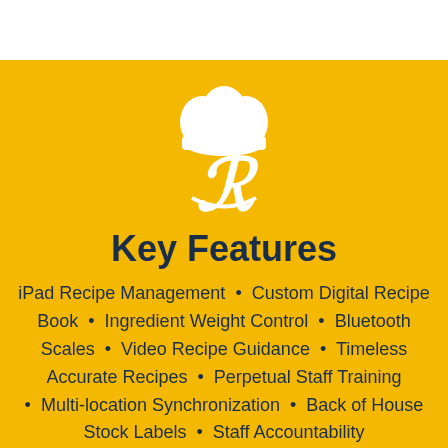[Figure (logo): White chef hat and decorative letter R logo on yellow background]
Key Features
iPad Recipe Management • Custom Digital Recipe Book • Ingredient Weight Control • Bluetooth Scales • Video Recipe Guidance • Timeless Accurate Recipes • Perpetual Staff Training • Multi-location Synchronization • Back of House Stock Labels • Staff Accountability • Any size business • Affordable